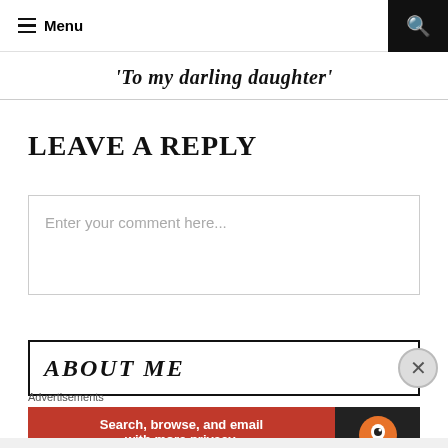Menu
To my darling daughter
LEAVE A REPLY
Enter your comment here...
ABOUT ME
Advertisements
[Figure (screenshot): DuckDuckGo advertisement banner: 'Search, browse, and email with more privacy. All in One Free App' with DuckDuckGo logo on dark background]